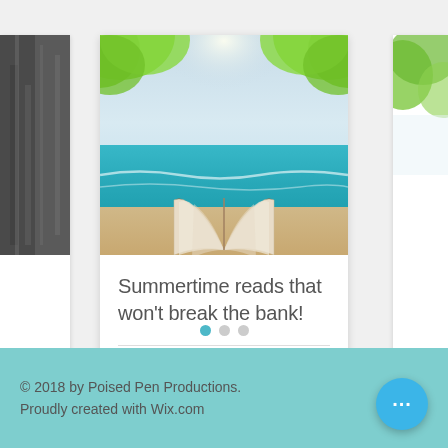[Figure (photo): Beach scene with open book in the foreground, turquoise ocean water, sandy beach, and green trees/foliage framing the top of the image]
Summertime reads that won't break the bank!
13 views · 0 comments · heart icon
© 2018 by Poised Pen Productions. Proudly created with Wix.com